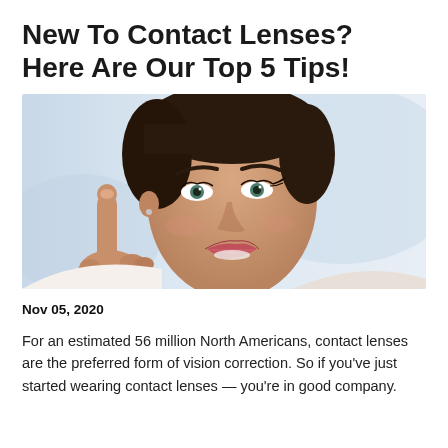New To Contact Lenses? Here Are Our Top 5 Tips!
[Figure (photo): A smiling young woman with dark hair pointing her index finger towards her eye, suggesting she is about to put in a contact lens. Blurred light blue background.]
Nov 05, 2020
For an estimated 56 million North Americans, contact lenses are the preferred form of vision correction. So if you've just started wearing contact lenses — you're in good company.